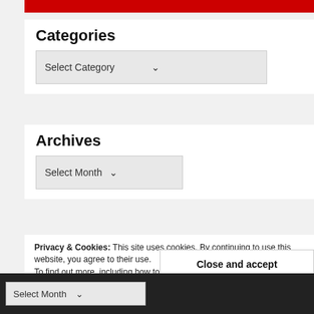[Figure (screenshot): Red banner bar at the top of the sidebar]
Categories
[Figure (screenshot): Select Category dropdown widget]
Archives
[Figure (screenshot): Select Month dropdown widget]
Privacy & Cookies: This site uses cookies. By continuing to use this website, you agree to their use. To find out more, including how to control cookies, see here: Cookie Policy
Close and accept
[Figure (screenshot): Select Month dropdown in dark footer bar]